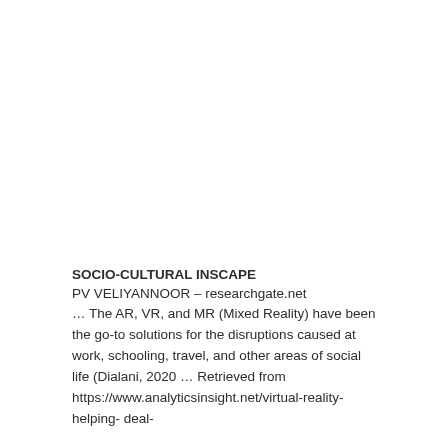SOCIO-CULTURAL INSCAPE
PV VELIYANNOOR – researchgate.net
… The AR, VR, and MR (Mixed Reality) have been the go-to solutions for the disruptions caused at work, schooling, travel, and other areas of social life (Dialani, 2020 … Retrieved from https://www.analyticsinsight.net/virtual-reality-helping- deal-